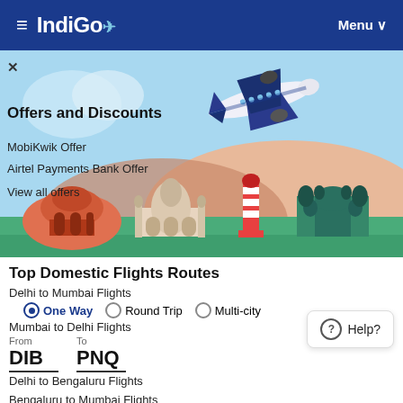≡ IndiGo ✈ Menu ∨
[Figure (illustration): IndiGo airline promotional banner showing an airplane flying over Indian landmarks (Lotus Temple, Taj Mahal, Gateway of India) with a blue sky background]
Offers and Discounts
MobiKwik Offer
Airtel Payments Bank Offer
View all offers
Top Domestic Flights Routes
Delhi to Mumbai Flights
● One Way   ○ Round Trip   ○ Multi-city
Mumbai to Delhi Flights
From
DIB

To
PNQ
Delhi to Bengaluru Flights
Bengaluru to Mumbai Flights